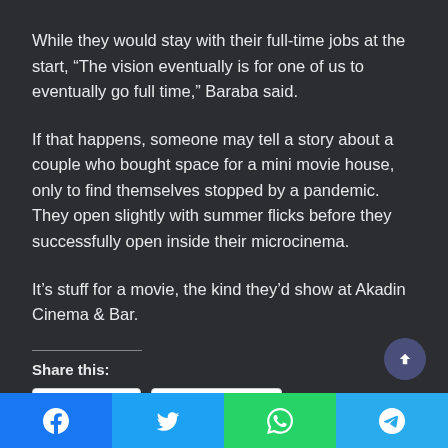While they would stay with their full-time jobs at the start, “The vision eventually is for one of us to eventually go full time,” Baraba said.
If that happens, someone may tell a story about a couple who bought space for a mini movie house, only to find themselves stopped by a pandemic. They open slightly with summer flicks before they successfully open inside their microcinema.
It’s stuff for a movie, the kind they’d show at Akadin Cinema & Bar.
Share this:
Twitter  Facebook